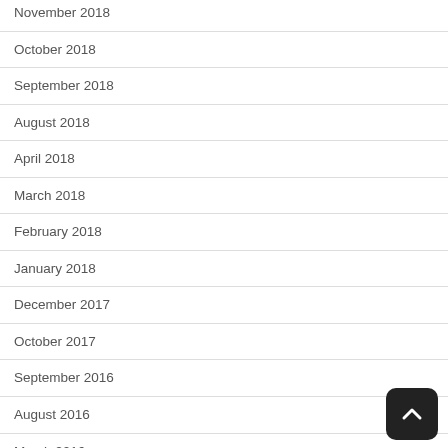November 2018
October 2018
September 2018
August 2018
April 2018
March 2018
February 2018
January 2018
December 2017
October 2017
September 2016
August 2016
March 2016
February 2016